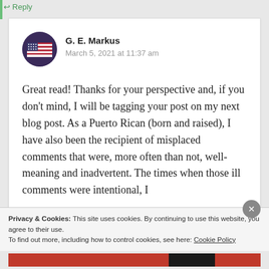Reply
G. E. Markus
March 5, 2021 at 11:37 am
Great read! Thanks for your perspective and, if you don't mind, I will be tagging your post on my next blog post. As a Puerto Rican (born and raised), I have also been the recipient of misplaced comments that were, more often than not, well-meaning and inadvertent. The times when those ill comments were intentional, I
Privacy & Cookies: This site uses cookies. By continuing to use this website, you agree to their use.
To find out more, including how to control cookies, see here: Cookie Policy
Close and accept